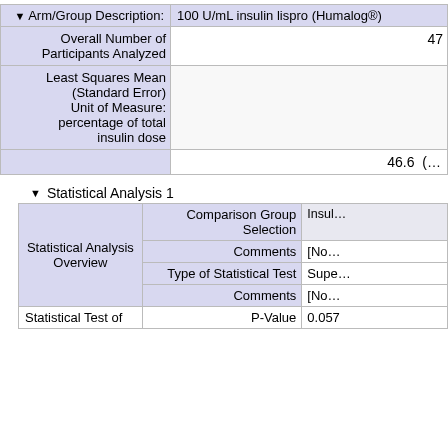| Arm/Group Description | 100 U/mL insulin lispro (Humalog®) |
| --- | --- |
| Overall Number of Participants Analyzed | 47 |
| Least Squares Mean (Standard Error) Unit of Measure: percentage of total insulin dose | 46.6 (… |
▼ Statistical Analysis 1
| Statistical Analysis Overview | Comparison Group Selection | Insul… |
| --- | --- | --- |
|  | Comments | [No… |
|  | Type of Statistical Test | Supe… |
|  | Comments | [No… |
| Statistical Test of | P-Value | 0.057 |